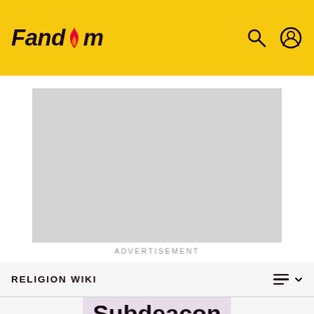Fandom
[Figure (screenshot): Advertisement placeholder - gray rectangle]
ADVERTISEMENT
RELIGION WIKI
Subdeacon